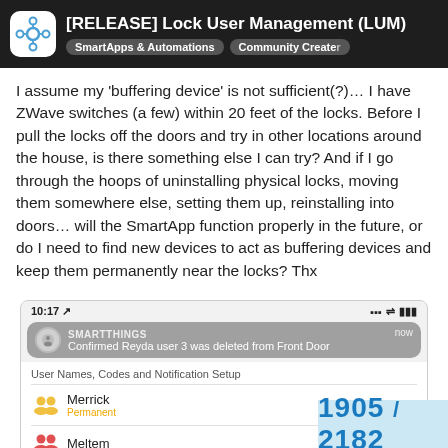[RELEASE] Lock User Management (LUM) | SmartApps & Automations | Community Created
I assume my ‘buffering device’ is not sufficient(?)... I have ZWave switches (a few) within 20 feet of the locks. Before I pull the locks off the doors and try in other locations around the house, is there something else I can try? And if I go through the hoops of uninstalling physical locks, moving them somewhere else, setting them up, reinstalling into doors… will the SmartApp function properly in the future, or do I need to find new devices to act as buffering devices and keep them permanently near the locks? Thx
[Figure (screenshot): Mobile phone screenshot showing SmartThings notification: 'Confirmed Reyda user 3 was deleted from Front Door', and an app screen showing 'User Names, Codes and Notification Setup' with users Merrick (Permanent) and Meltem listed.]
1905 / 2182